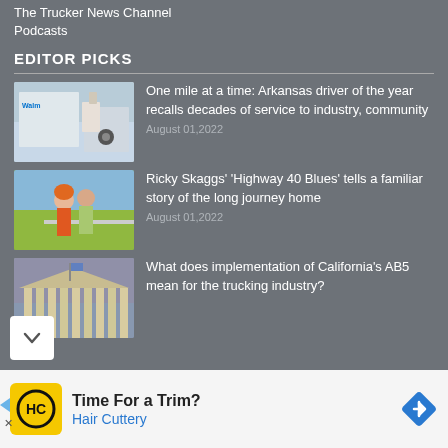The Trucker News Channel
Podcasts
EDITOR PICKS
[Figure (photo): A truck driver standing next to a Walmart truck, opening a door]
One mile at a time: Arkansas driver of the year recalls decades of service to industry, community
August 01,2022
[Figure (photo): Two people hitchhiking on a road, one wearing an orange helmet]
Ricky Skaggs' 'Highway 40 Blues' tells a familiar story of the long journey home
August 01,2022
[Figure (photo): A courthouse or government building with columns under a dramatic cloudy sky]
What does implementation of California's AB5 mean for the trucking industry?
[Figure (advertisement): Hair Cuttery advertisement: Time For a Trim? with HC logo and blue arrow sign]